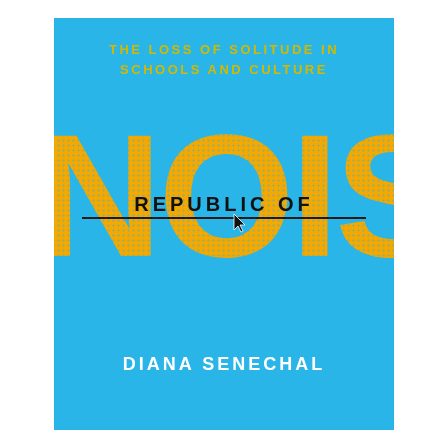[Figure (illustration): Book cover for 'Republic of Noise: The Loss of Solitude in Schools and Culture' by Diana Senechal. Blue background with giant yellow 'NOISE' text overlaid with halftone dots, 'REPUBLIC OF' text in the middle of the NOISE letters, a horizontal line with cursor icon, subtitle at top in yellow, author name in white at bottom.]
REPUBLIC OF NOISE
THE LOSS OF SOLITUDE IN SCHOOLS AND CULTURE
DIANA SENECHAL